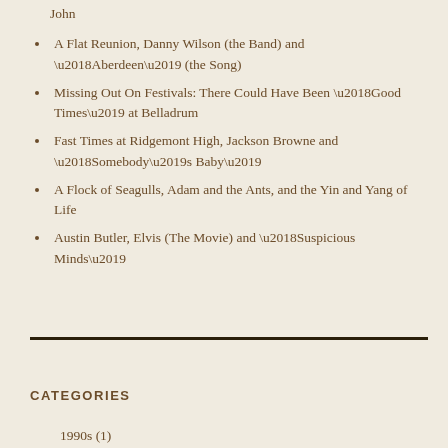John
A Flat Reunion, Danny Wilson (the Band) and 'Aberdeen' (the Song)
Missing Out On Festivals: There Could Have Been 'Good Times' at Belladrum
Fast Times at Ridgemont High, Jackson Browne and 'Somebody's Baby'
A Flock of Seagulls, Adam and the Ants, and the Yin and Yang of Life
Austin Butler, Elvis (The Movie) and 'Suspicious Minds'
CATEGORIES
1990s (1)